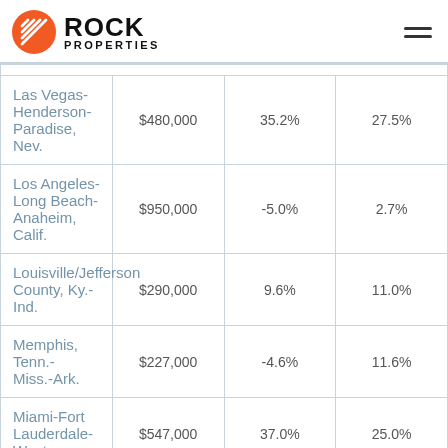Rock Properties
|  |  |  |  |
| --- | --- | --- | --- |
| Las Vegas-Henderson-Paradise, Nev. | $480,000 | 35.2% | 27.5% |
| Los Angeles-Long Beach-Anaheim, Calif. | $950,000 | -5.0% | 2.7% |
| Louisville/Jefferson County, Ky.-Ind. | $290,000 | 9.6% | 11.0% |
| Memphis, Tenn.-Miss.-Ark. | $227,000 | -4.6% | 11.6% |
| Miami-Fort Lauderdale-West | $547,000 | 37.0% | 25.0% |